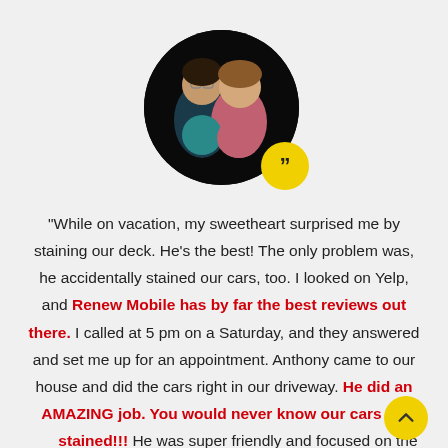[Figure (photo): Circular profile photo of two young women, dark background, with a yellow quote badge in the bottom-right of the circle.]
"While on vacation, my sweetheart surprised me by staining our deck. He's the best! The only problem was, he accidentally stained our cars, too. I looked on Yelp, and Renew Mobile has by far the best reviews out there. I called at 5 pm on a Saturday, and they answered and set me up for an appointment. Anthony came to our house and did the cars right in our driveway. He did an AMAZING job. You would never know our cars were stained!!! He was super friendly and focused on the details. I am